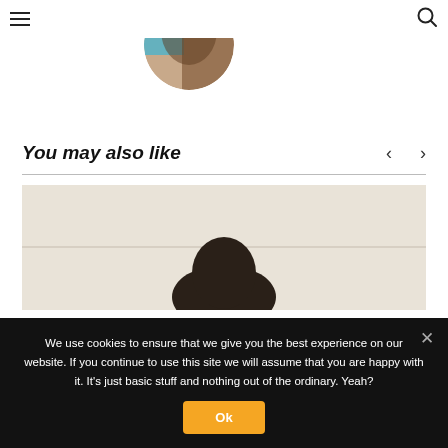[Figure (photo): Circular cropped profile photo showing colorful hair (blue and brown tones), partially visible at top of page]
You may also like
[Figure (photo): Article thumbnail image showing a person from behind, wearing a dark hat, against a light beige/cream background]
We use cookies to ensure that we give you the best experience on our website. If you continue to use this site we will assume that you are happy with it. It's just basic stuff and nothing out of the ordinary. Yeah?